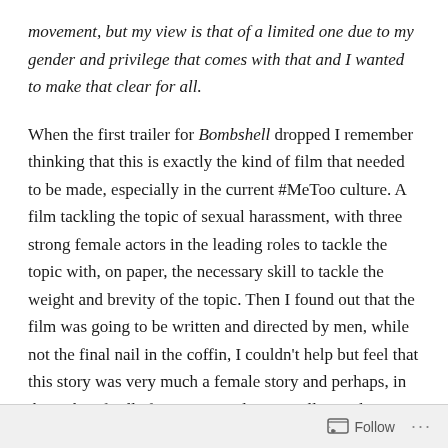movement, but my view is that of a limited one due to my gender and privilege that comes with that and I wanted to make that clear for all.
When the first trailer for Bombshell dropped I remember thinking that this is exactly the kind of film that needed to be made, especially in the current #MeToo culture. A film tackling the topic of sexual harassment, with three strong female actors in the leading roles to tackle the topic with, on paper, the necessary skill to tackle the weight and brevity of the topic. Then I found out that the film was going to be written and directed by men, while not the final nail in the coffin, I couldn't help but feel that this story was very much a female story and perhaps, in the wake of calls for more equality in Hollywood, it would have been better for everyone if the film was helmed by a woman. My fears were yet compounded
Follow ···